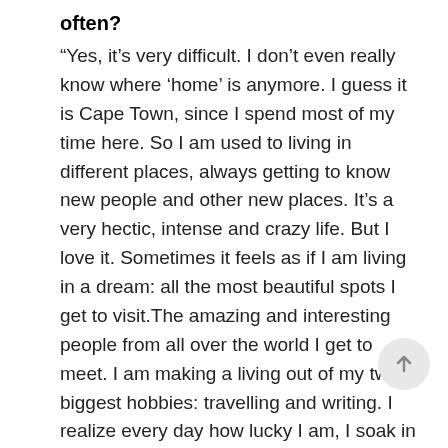often?
“Yes, it’s very difficult. I don’t even really know where ‘home’ is anymore. I guess it is Cape Town, since I spend most of my time here. So I am used to living in different places, always getting to know new people and other new places. It’s a very hectic, intense and crazy life. But I love it. Sometimes it feels as if I am living in a dream: all the most beautiful spots I get to visit.The amazing and interesting people from all over the world I get to meet. I am making a living out of my two biggest hobbies: travelling and writing. I realize every day how lucky I am, I soak in every moment to enjoy it to the fullest and feel very grateful for all this. But obviously it has it’s downsides too: my last two relationships did not last